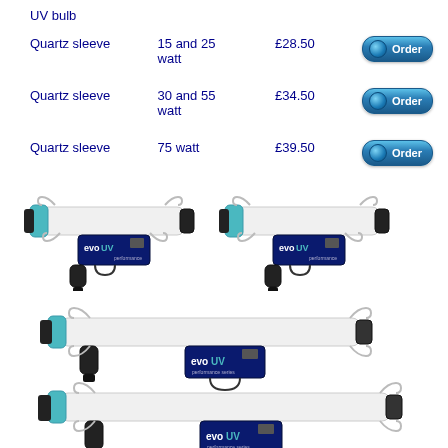UV bulb
|  |  |
| --- | --- |
| Quartz sleeve | 15 and 25 watt | £28.50 | Order |
| Quartz sleeve | 30 and 55 watt | £34.50 | Order |
| Quartz sleeve | 75 watt | £39.50 | Order |
[Figure (photo): Two EvoUV UV sterilizer units side by side]
[Figure (photo): EvoUV UV sterilizer unit, longer model]
[Figure (photo): EvoUV UV sterilizer unit, longest model, partial view at bottom]